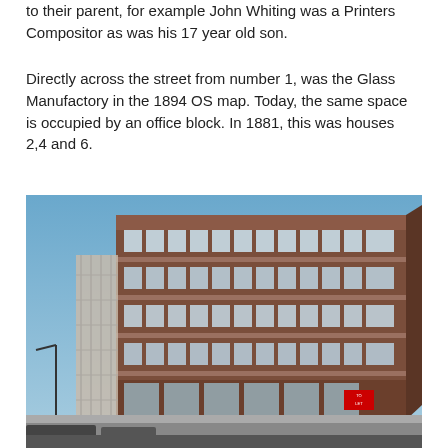to their parent, for example John Whiting was a Printers Compositor as was his 17 year old son.
Directly across the street from number 1, was the Glass Manufactory in the 1894 OS map. Today, the same space is occupied by an office block. In 1881, this was houses 2,4 and 6.
[Figure (photo): Photograph of a multi-storey brick office block with horizontal rows of windows. Scaffolding is visible on the left side of the building. The sky is blue and there are vehicles parked at street level. A 'To Let' sign is visible on the ground floor right side.]